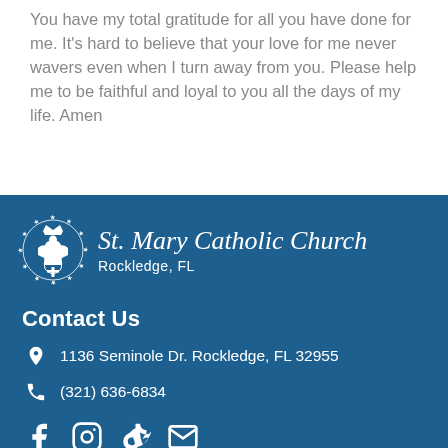You have my total gratitude for all you have done for me.  It's hard to believe that your love for me never wavers even when I turn away from you.  Please help me to be faithful and loyal to you all the days of my life.  Amen
[Figure (logo): St. Mary Catholic Church Rockledge FL logo with ornate Marian emblem surrounded by stars]
Contact Us
1136 Seminole Dr. Rockledge, FL 32955
(321) 636-6834
[Figure (infographic): Social media icons: Facebook, Instagram, Vimeo, Email]